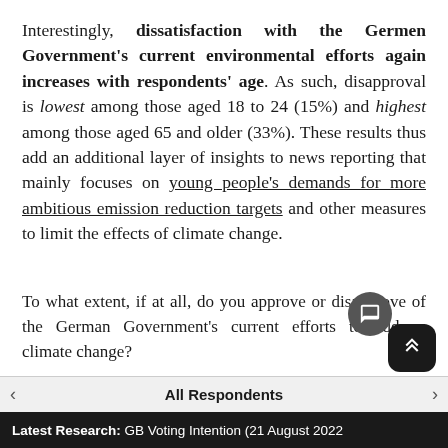Interestingly, dissatisfaction with the Germen Government's current environmental efforts again increases with respondents' age. As such, disapproval is lowest among those aged 18 to 24 (15%) and highest among those aged 65 and older (33%). These results thus add an additional layer of insights to news reporting that mainly focuses on young people's demands for more ambitious emission reduction targets and other measures to limit the effects of climate change.
To what extent, if at all, do you approve or disapprove of the German Government's current efforts to address climate change?
Latest Research: GB Voting Intention (21 August 2022